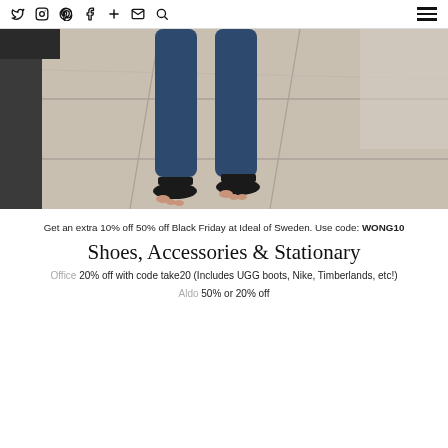Social icons: Twitter, Instagram, Pinterest, Facebook, Plus, Email, Search | Hamburger menu
[Figure (photo): Person standing on stone pavement wearing blue skinny jeans and black flat sandals, photo cropped from mid-thigh down]
Get an extra 10% off 50% off Black Friday at Ideal of Sweden. Use code: WONG10
Shoes, Accessories & Stationary
Office 20% off with code take20 (Includes UGG boots, Nike, Timberlands, etc!)
Aldo 50% or 20% off